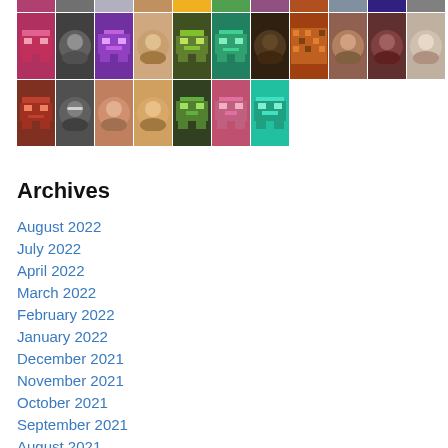[Figure (other): Grid of user avatars — mix of real profile photos and pixel-art robot/alien icons in various colors (pink, purple, green, cyan, dark red). Three rows visible: first row with 10 avatars, second row with 11 avatars, third row with 7 avatars.]
Archives
August 2022
July 2022
April 2022
March 2022
February 2022
January 2022
December 2021
November 2021
October 2021
September 2021
August 2021
July 2021
June 2021